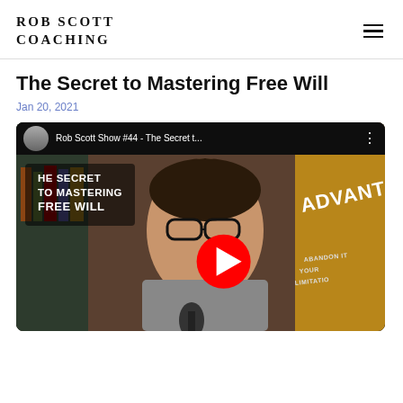ROB SCOTT COACHING
The Secret to Mastering Free Will
Jan 20, 2021
[Figure (screenshot): YouTube video thumbnail for Rob Scott Show #44 - The Secret t... showing a man with glasses speaking into a microphone, with overlay text reading 'THE SECRET TO MASTERING FREE WILL' on the left side and a red YouTube play button in the center]